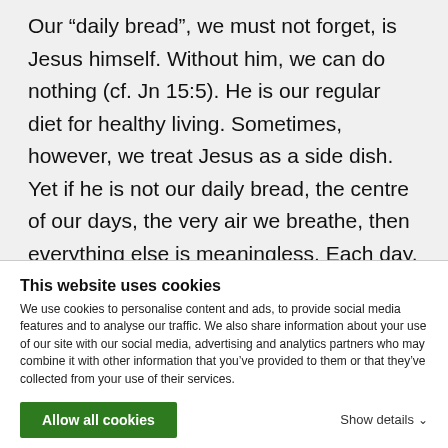Our “daily bread”, we must not forget, is Jesus himself. Without him, we can do nothing (cf. Jn 15:5). He is our regular diet for healthy living. Sometimes, however, we treat Jesus as a side dish. Yet if he is not our daily bread, the centre of our days, the very air we breathe, then everything else is meaningless. Each day, when we pray for our daily bread, let us ask the Father, and keep
This website uses cookies
We use cookies to personalise content and ads, to provide social media features and to analyse our traffic. We also share information about your use of our site with our social media, advertising and analytics partners who may combine it with other information that you’ve provided to them or that they’ve collected from your use of their services.
Allow all cookies
Show details